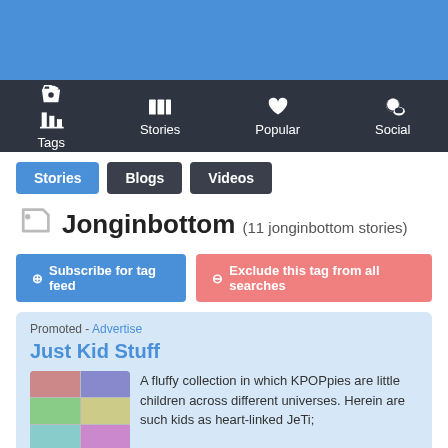[Figure (screenshot): Blue header bar at top of page]
Tags  Stories  Popular  Social
Stories  Blogs  Videos
Jonginbottom (11 jonginbottom stories)
Subscribe for tag feed   Exclude this tag from all searches
Promoted - Advertise
Just Kid Stuff
A fluffy collection in which KPOPpies are little children across different universes. Herein are such kids as heart-linked JeTi;
Promoted - 1 Hour Advertisement (#ffe488)
Enter a bid set this ad placement across all tags/stories for 1 hour (300 (...